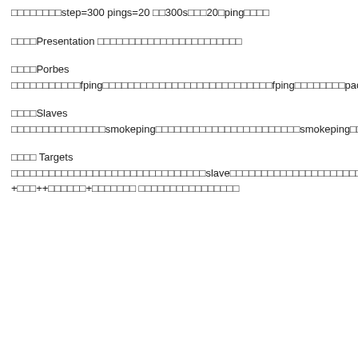□□□□□□□□step=300 pings=20 □□300s□□□20□ping□□□□
□□□□Presentation □□□□□□□□□□□□□□□□□□□□□□□
□□□□Porbes □□□□□□□□□□□fping□□□□□□□□□□□□□□□□□□□□□□□□□□□fping□□□□□□□□packetsize□
□□□□Slaves □□□□□□□□□□□□□□□smokeping□□□□□□□□□□□□□□□□□□□□□□□smokeping□□□□□□□□master□□□□□□□□□□□secrets□□□□□□□□□□□□□□□□
□□□□ Targets □□□□□□□□□□□□□□□□□□□□□□□□□□□□□□□slave□□□□□□□□□□□□□□□□□□□□□□□□□□□□□□□□□□□□□□□□□+□□□□□□ +□□□++□□□□□□+□□□□□□□ □□□□□□□□□□□□□□□□